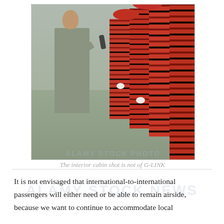[Figure (photo): A man in a grey suit holding a microphone stands facing a group of women dressed in red and black tartan uniforms with matching hats, apparently airline staff. The setting appears to be outdoors on a tarmac or pavement. The photo is in colour, vintage style.]
The interior cabin shot is not of G-LINK
It is not envisaged that international-to-international passengers will either need or be able to remain airside, because we want to continue to accommodate local